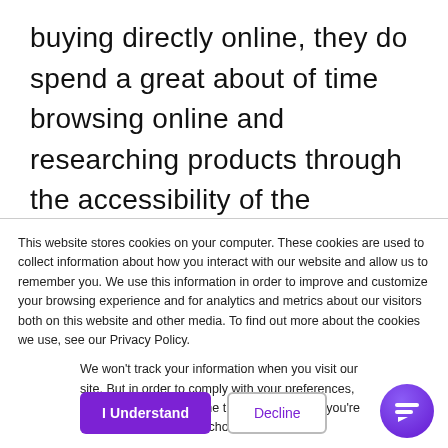buying directly online, they do spend a great about of time browsing online and researching products through the accessibility of the internet. Companies can utilize an omnichannel approach to offer various
This website stores cookies on your computer. These cookies are used to collect information about how you interact with our website and allow us to remember you. We use this information in order to improve and customize your browsing experience and for analytics and metrics about our visitors both on this website and other media. To find out more about the cookies we use, see our Privacy Policy.
We won't track your information when you visit our site. But in order to comply with your preferences, we'll have to use just one tiny cookie so that you're not asked to make this choice again.